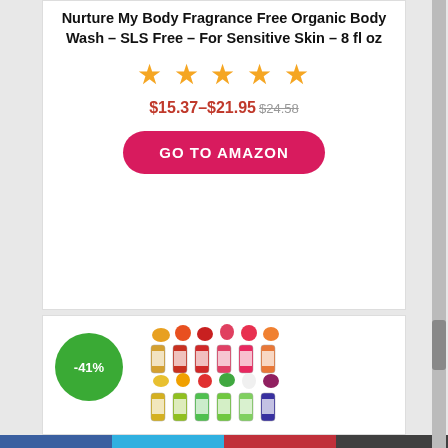Nurture My Body Fragrance Free Organic Body Wash – SLS Free – For Sensitive Skin – 8 fl oz
★★★★★
$15.37–$21.95 $24.58
GO TO AMAZON
[Figure (photo): Product image showing multiple small bottles of flavoring/fragrance oils arranged in rows with fruit images above each row. A green circle badge showing -41% discount is overlaid on the left side.]